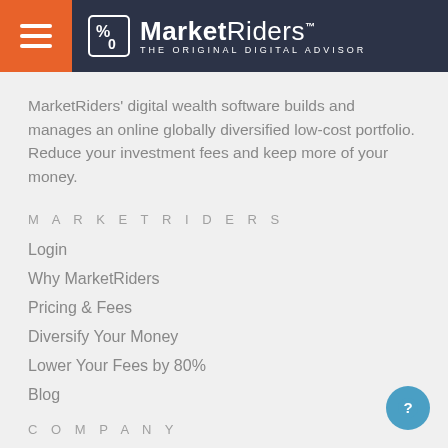MarketRiders THE ORIGINAL DIGITAL ADVISOR
MarketRiders' digital wealth software builds and manages an online globally diversified low-cost portfolio. Reduce your investment fees and keep more of your money.
MARKETRIDERS
Login
Why MarketRiders
Pricing & Fees
Diversify Your Money
Lower Your Fees by 80%
Blog
COMPANY
About Us
Investing Blog